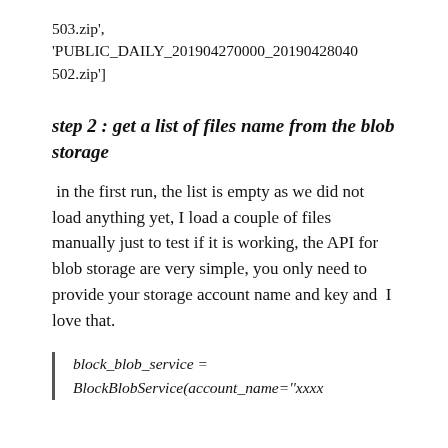503.zip', 'PUBLIC_DAILY_201904270000_20190428040502.zip']
step 2 : get a list of files name from the blob storage
in the first run, the list is empty as we did not load anything yet, I load a couple of files manually just to test if it is working, the API for blob storage are very simple, you only need to provide your storage account name and key and  I love that.
block_blob_service = BlockBlobService(account_name=''xxxx